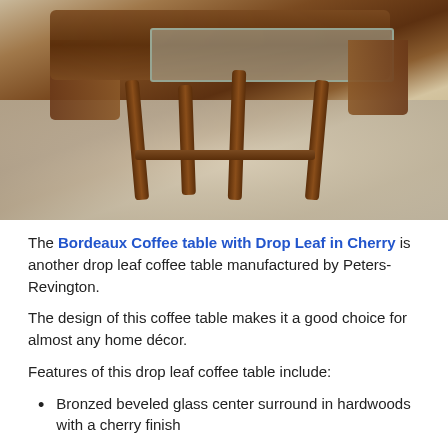[Figure (photo): Photograph of the Bordeaux Coffee table with Drop Leaf in Cherry finish, showing a dark cherry wood coffee table with turned legs, bronzed beveled glass center, and drop leaf sides, displayed on a patterned area rug.]
The Bordeaux Coffee table with Drop Leaf in Cherry is another drop leaf coffee table manufactured by Peters-Revington.
The design of this coffee table makes it a good choice for almost any home décor.
Features of this drop leaf coffee table include:
Bronzed beveled glass center surround in hardwoods with a cherry finish